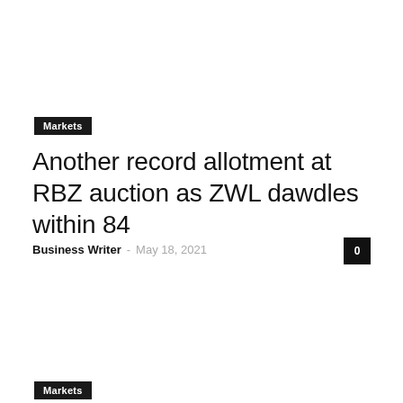Markets
Another record allotment at RBZ auction as ZWL dawdles within 84
Business Writer  -  May 18, 2021
Markets